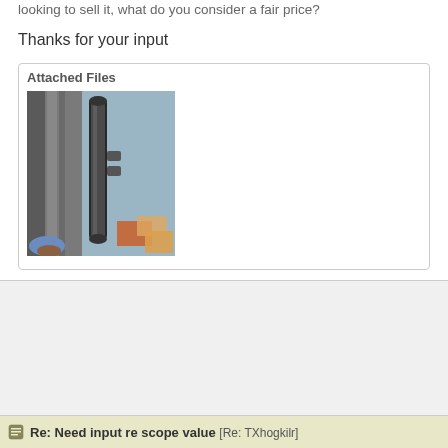looking to sell it, what do you consider a fair price?
Thanks for your input
Attached Files
[Figure (photo): Photo of a rifle scope or cylindrical metallic device mounted vertically on a pegboard wall, with a person's foot visible in the lower left and boxes in the background.]
Re: Need input re scope value [Re: TXhogkilr]